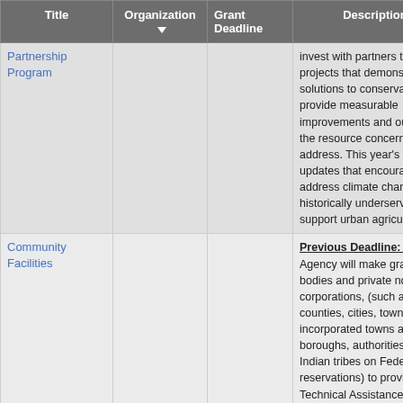| Title | Organization | Grant Deadline | Description |
| --- | --- | --- | --- |
| Partnership Program |  |  | invest with partners to imp... projects that demonstrate solutions to conservation and provide measurable improvements and outcom... the resource concerns the... address. This year's fund... updates that encourage p... address climate change, b... historically underserved fa... support urban agriculture. |
| Community Facilities |  |  | Previous Deadline: 04/3... Agency will make grants t... bodies and private nonpro... corporations, (such as St... counties, cities, townships... incorporated towns and v... boroughs, authorities, dis... Indian tribes on Federal a... reservations) to provide a... Technical Assistance and... |